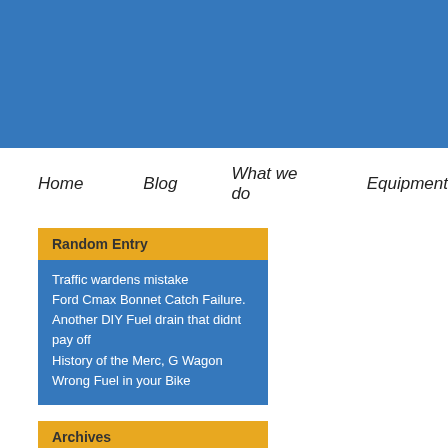[Figure (other): Blue header banner area]
Home   Blog   What we do   Equipment
Random Entry
Traffic wardens mistake
Ford Cmax Bonnet Catch Failure.
Another DIY Fuel drain that didnt pay off
History of the Merc, G Wagon
Wrong Fuel in your Bike
Archives
View Archives